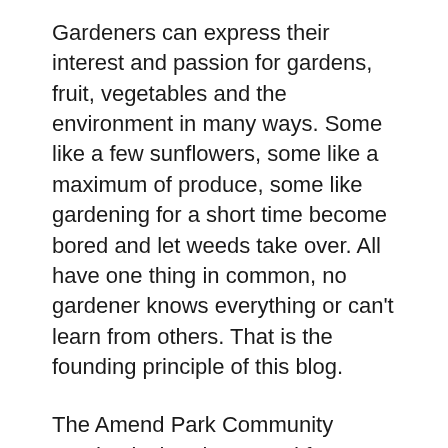Gardeners can express their interest and passion for gardens, fruit, vegetables and the environment in many ways. Some like a few sunflowers, some like a maximum of produce, some like gardening for a short time become bored and let weeds take over. All have one thing in common, no gardener knows everything or can't learn from others. That is the founding principle of this blog.
The Amend Park Community Garden is the playground for our gardeners. Located on the east side of Amend Park, we strive to get long with our neighbors and enjoy the opportunity to connect to nature. Some will only see the pounds they produce as a fulfillment of their interest.  A few gardeners will spent time teaching and sharing their experiences with grandchildren. There are gardeners who spend all their time alone in